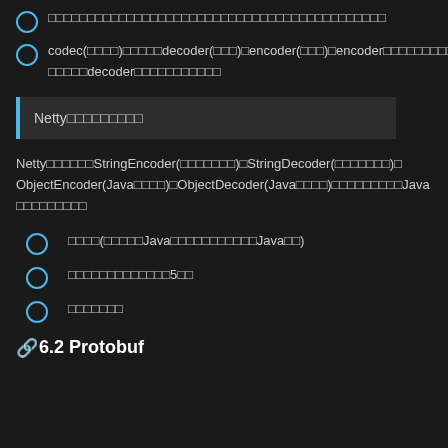（continuation of previous list item about codec/encoder/decoder）
codec(编解码器)包括decoder(解码器)和encoder(编码器)，encoder负责把Java对象转成字节流，decoder负责把字节流转成Java对象
Netty内置的编解码器
Netty内置了很多编解码器，StringEncoder(字符串编码器)、StringDecoder(字符串解码器)、ObjectEncoder(Java对象编码器)、ObjectDecoder(Java对象解码器)等，完整的内置Java编解码器列表
序列化（需要实现Java的Serializable接口，实现Java序列化）
目前Java原生的序列化性能是5倍的差距
序列化问题
6.2 Protobuf